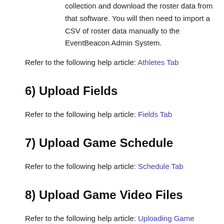collection and download the roster data from that software. You will then need to import a CSV of roster data manually to the EventBeacon Admin System.
Refer to the following help article: Athletes Tab
6) Upload Fields
Refer to the following help article: Fields Tab
7) Upload Game Schedule
Refer to the following help article: Schedule Tab
8) Upload Game Video Files
Refer to the following help article: Uploading Game Videos to